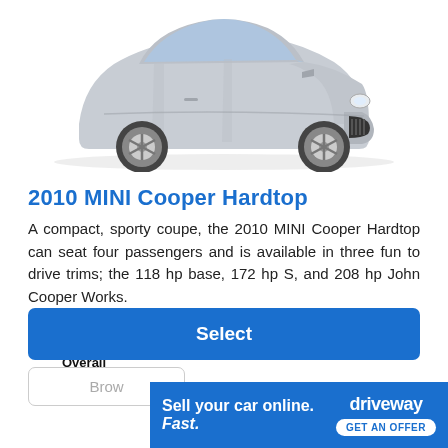[Figure (photo): Front view of a silver 2010 MINI Cooper Hardtop car against a white background]
2010 MINI Cooper Hardtop
A compact, sporty coupe, the 2010 MINI Cooper Hardtop can seat four passengers and is available in three fun to drive trims; the 118 hp base, 172 hp S, and 208 hp John Cooper Works.
4.5 Overall — Write a Review
Select
Brow[se]
Sell your car online. Fast. driveway GET AN OFFER